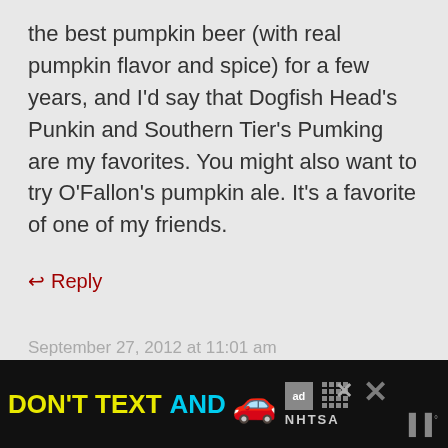the best pumpkin beer (with real pumpkin flavor and spice) for a few years, and I'd say that Dogfish Head's Punkin and Southern Tier's Pumking are my favorites. You might also want to try O'Fallon's pumpkin ale. It's a favorite of one of my friends.
↩ Reply
September 27, 2012 at 11:01 am
[Figure (other): Advertisement banner: DON'T TEXT AND [car emoji] with ad badge and NHTSA logo on black background]